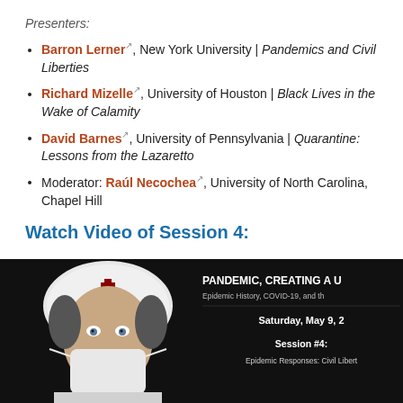Presenters:
Barron Lerner, New York University | Pandemics and Civil Liberties
Richard Mizelle, University of Houston | Black Lives in the Wake of Calamity
David Barnes, University of Pennsylvania | Quarantine: Lessons from the Lazaretto
Moderator: Raúl Necochea, University of North Carolina, Chapel Hill
Watch Video of Session 4:
[Figure (photo): Video thumbnail showing a historical nurse figure wearing a white cap and face mask against a black background, with text overlay reading PANDEMIC, CREATING A U, Epidemic History, COVID-19, and th, Saturday, May 9, 2[020], Session #4:, Epidemic Responses: Civil Libert[ies]]